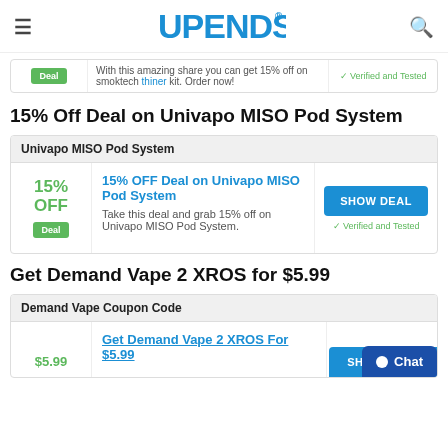UPENDS
Deal — With this amazing share you can get 15% off on smoktech thiner kit. Order now! — Verified and Tested
15% Off Deal on Univapo MISO Pod System
| Univapo MISO Pod System |
| --- |
| 15% OFF | Deal | 15% OFF Deal on Univapo MISO Pod System
Take this deal and grab 15% off on Univapo MISO Pod System. | SHOW DEAL
✓ Verified and Tested |
Get Demand Vape 2 XROS for $5.99
| Demand Vape Coupon Code |
| --- |
| $5.99 | Get Demand Vape 2 XROS For $5.99 | SHOW DEAL |